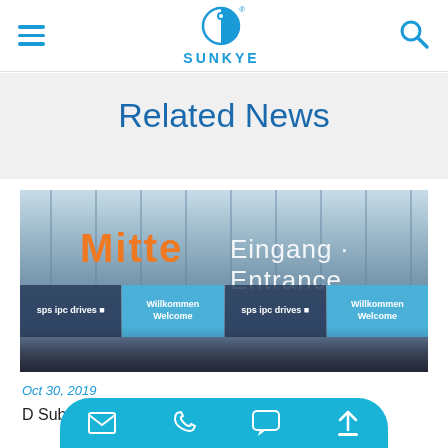SUNKYE logo header with menu and search icons
Related News
[Figure (photo): Exterior entrance of an exhibition hall showing 'Mitte Eingang · Entrance' sign with 'sps ipc drives' and 'Willkommen Welcome' banners and crowd of visitors]
Oct 30, 2019
D Sub Connector Introduction